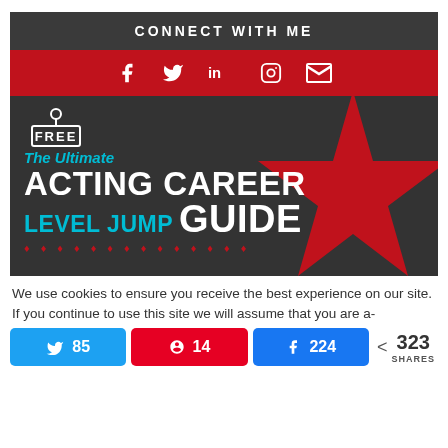CONNECT WITH ME
[Figure (infographic): Social media icons row: Facebook, Twitter, LinkedIn, Instagram, Email on a red background bar]
[Figure (infographic): Dark banner ad: FREE tag, large red star graphic, text reading 'The Ultimate ACTING CAREER LEVEL JUMP GUIDE' with decorative dots row]
We use cookies to ensure you receive the best experience on our site. If you continue to use this site we will assume that you are a-
[Figure (infographic): Social share bar with Twitter (85), Pinterest (14), Facebook (224) buttons and total 323 SHARES]